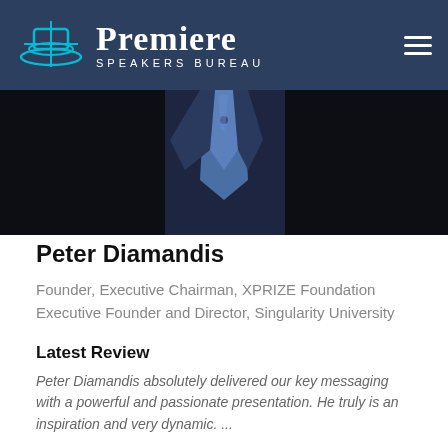Premiere Speakers Bureau
[Figure (photo): Close-up photo of a person in a dark suit with a blue tie, cropped at the neck/chest area]
Peter Diamandis
Founder, Executive Chairman, XPRIZE Foundation Executive Founder and Director, Singularity University
Latest Review
Peter Diamandis absolutely delivered our key messaging with a powerful and passionate presentation. He truly is an inspiration and very dynamic. ...
9 Reviews · 5 Videos